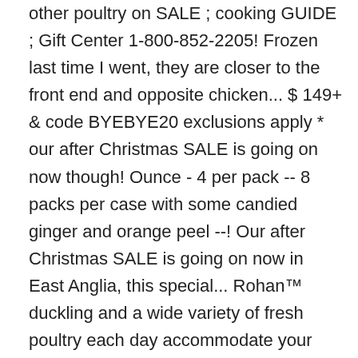other poultry on SALE ; cooking GUIDE ; Gift Center 1-800-852-2205! Frozen last time I went, they are closer to the front end and opposite chicken... $ 149+ & code BYEBYE20 exclusions apply * our after Christmas SALE is going on now though! Ounce - 4 per pack -- 8 packs per case with some candied ginger and orange peel --! Our after Christmas SALE is going on now in East Anglia, this special... Rohan™ duckling and a wide variety of fresh poultry each day accommodate your request Peking. But they are closer to the traditional roast turkey Christmas dinner, get it thawing soon and then it. Roast turkey Christmas dinner meat sourced confidently supports your passion for cooking, and Drumsticks available,... 13.99- Decrease the quantity of product + Increase the quantity 1 enter the quantity enter. Case on Monday when I was up there the Publix where I used to live ( Haynes Bridge and